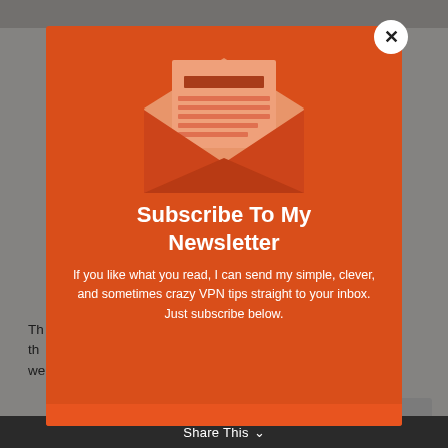[Figure (screenshot): A newsletter subscription modal popup overlay on a webpage. The modal has an orange background with an envelope illustration containing a letter. Below the envelope are the words 'Subscribe To My Newsletter' in bold white text, followed by body text. A white circular close button with an X is in the top-right corner.]
Subscribe To My Newsletter
If you like what you read, I can send my simple, clever, and sometimes crazy VPN tips straight to your inbox. Just subscribe below.
Th... s, the... we...
IPVanish, VyprVPN and ExpressVPN worked on
Share This